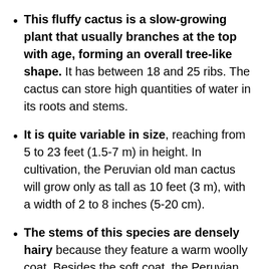This fluffy cactus is a slow-growing plant that usually branches at the top with age, forming an overall tree-like shape. It has between 18 and 25 ribs. The cactus can store high quantities of water in its roots and stems.
It is quite variable in size, reaching from 5 to 23 feet (1.5-7 m) in height. In cultivation, the Peruvian old man cactus will grow only as tall as 10 feet (3 m), with a width of 2 to 8 inches (5-20 cm).
The stems of this species are densely hairy because they feature a warm woolly coat. Besides the soft coat, the Peruvian old man cactus also has sharp spines all over its body.